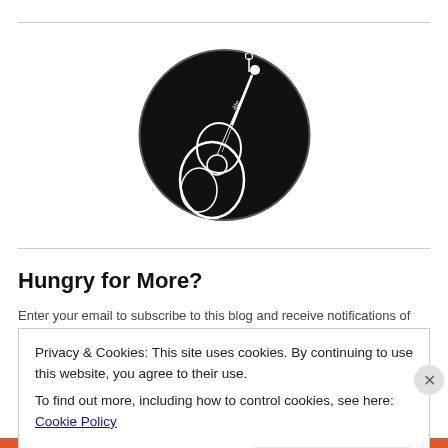[Figure (logo): Circular black logo with stylized guitar/musical instrument design and decorative lettering in white on black background]
Hungry for More?
Enter your email to subscribe to this blog and receive notifications of
Privacy & Cookies: This site uses cookies. By continuing to use this website, you agree to their use.
To find out more, including how to control cookies, see here: Cookie Policy
Close and accept